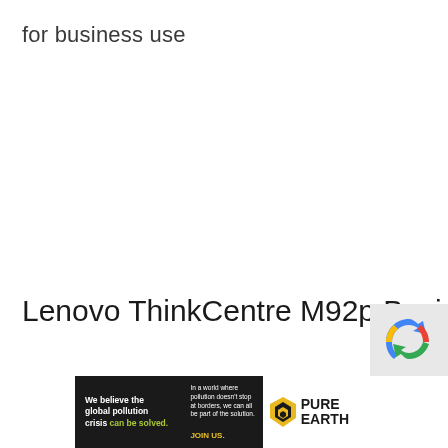for business use
Lenovo ThinkCentre M92p Business
[Figure (other): reCAPTCHA widget partial overlay in bottom right corner]
[Figure (other): Pure Earth advertisement banner: 'We believe the global pollution crisis can be solved.' with Pure Earth logo]